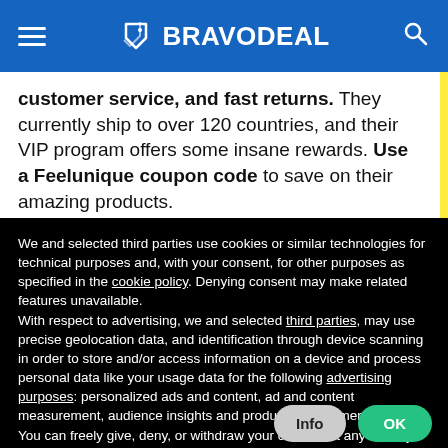BRAVODEAL
customer service, and fast returns. They currently ship to over 120 countries, and their VIP program offers some insane rewards. Use a Feelunique coupon code to save on their amazing products.
We and selected third parties use cookies or similar technologies for technical purposes and, with your consent, for other purposes as specified in the cookie policy. Denying consent may make related features unavailable.
With respect to advertising, we and selected third parties, may use precise geolocation data, and identification through device scanning in order to store and/or access information on a device and process personal data like your usage data for the following advertising purposes: personalized ads and content, ad and content measurement, audience insights and product development.
You can freely give, deny, or withdraw your consent at any time by accessing the preferences panel.
You can consent to the use of such technologies by using the “OK” button or by continuing to browse otherwise.